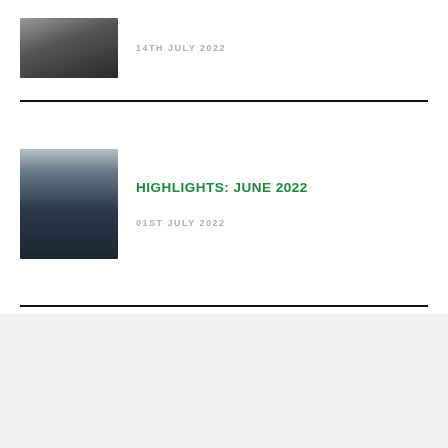[Figure (photo): Thumbnail photo of a person (partial, top cropped), appears to be a rugby player at a press conference with a logo backdrop]
14TH JULY 2022
[Figure (photo): Thumbnail photo of a young man in a dark navy hoodie/jacket, standing outdoors]
HIGHLIGHTS: JUNE 2022
01ST JULY 2022